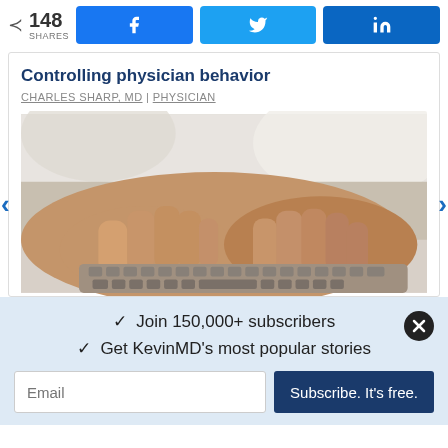148 SHARES | Facebook | Twitter | LinkedIn
Controlling physician behavior
CHARLES SHARP, MD | PHYSICIAN
[Figure (photo): Hands typing on a keyboard, close-up photograph]
✓ Join 150,000+ subscribers
✓ Get KevinMD's most popular stories
Email | Subscribe. It's free.